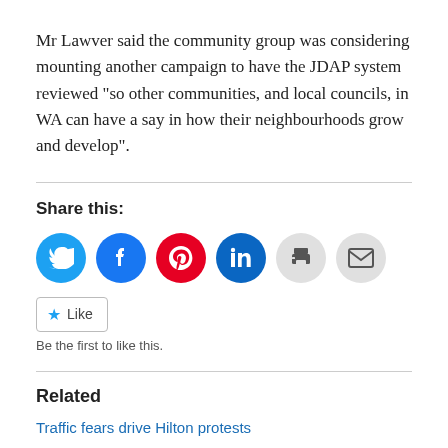Mr Lawver said the community group was considering mounting another campaign to have the JDAP system reviewed “so other communities, and local councils, in WA can have a say in how their neighbourhoods grow and develop”.
Share this:
[Figure (infographic): Social share icons: Twitter (blue), Facebook (blue), Pinterest (red), LinkedIn (dark blue), Print (grey), Email (grey)]
★ Like
Be the first to like this.
Related
Traffic fears drive Hilton protests